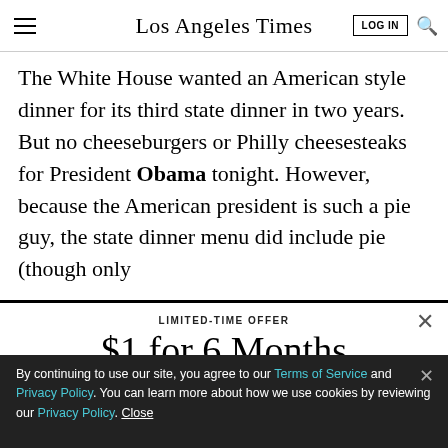Los Angeles Times
The White House wanted an American style dinner for its third state dinner in two years. But no cheeseburgers or Philly cheesesteaks for President Obama tonight. However, because the American president is such a pie guy, the state dinner menu did include pie (though only
LIMITED-TIME OFFER
$1 for 6 Months
SUBSCRIBE NOW
By continuing to use our site, you agree to our Terms of Service and Privacy Policy. You can learn more about how we use cookies by reviewing our Privacy Policy. Close